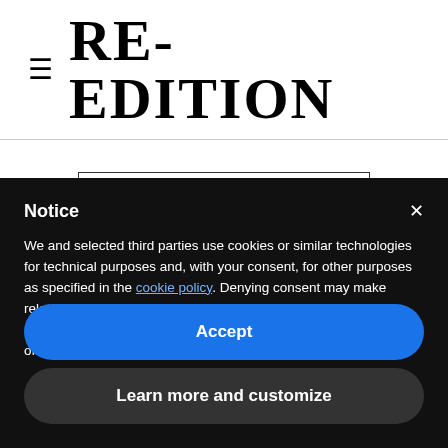RE-EDITION
[Figure (screenshot): Subscribe input box and button]
Notice
We and selected third parties use cookies or similar technologies for technical purposes and, with your consent, for other purposes as specified in the cookie policy. Denying consent may make related features unavailable.
Use the “Accept” button or close this notice to consent to the use of such technologies.
Accept
Learn more and customize